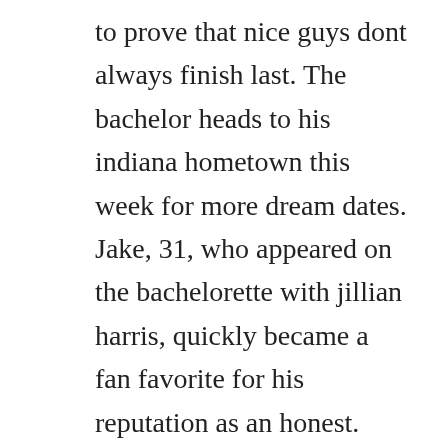to prove that nice guys dont always finish last. The bachelor heads to his indiana hometown this week for more dream dates. Jake, 31, who appeared on the bachelorette with jillian harris, quickly became a fan favorite for his reputation as an honest. Season 16 guide for the bachelor tv series see the episodes list with schedule and episode summary. Watch the bachelor episodes online season 16 2012 tv. The bachelor 2017 airs on abc this evening with an all new monday, january 9, 2017, season 21 episode 2 and we have your the bachelor recap below. Click here and start